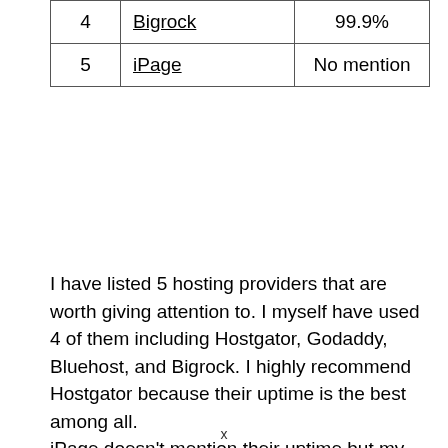| 4 | Bigrock | 99.9% |
| 5 | iPage | No mention |
I have listed 5 hosting providers that are worth giving attention to. I myself have used 4 of them including Hostgator, Godaddy, Bluehost, and Bigrock. I highly recommend Hostgator because their uptime is the best among all. iPage doesn't mention their uptime but my friends have used iPage and informed me that it has good server uptime.
x